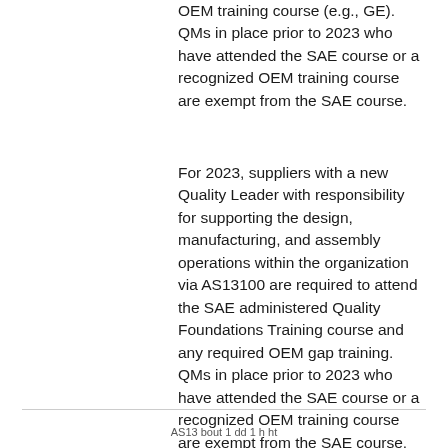OEM training course (e.g., GE). QMs in place prior to 2023 who have attended the SAE course or a recognized OEM training course are exempt from the SAE course.
For 2023, suppliers with a new Quality Leader with responsibility for supporting the design, manufacturing, and assembly operations within the organization via AS13100 are required to attend the SAE administered Quality Foundations Training course and any required OEM gap training. QMs in place prior to 2023 who have attended the SAE course or a recognized OEM training course are exempt from the SAE course.
AS13 bout 1 dd 1 h ht